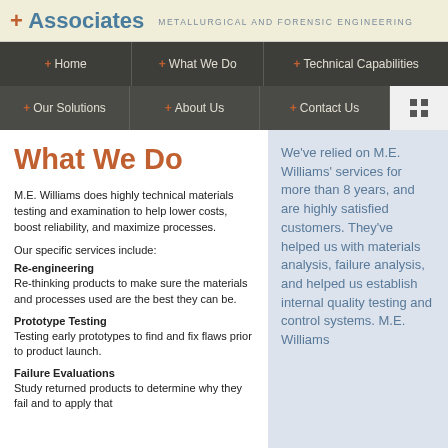+ Associates METALLURGICAL AND FORENSIC ENGINEERING
+ Home + What We Do + Technical Capabilities
+ Our Solutions + About Us + Contact Us
What We Do
M.E. Williams does highly technical materials testing and examination to help lower costs, boost reliability, and maximize processes.
Our specific services include:
Re-engineering
Re-thinking products to make sure the materials and processes used are the best they can be.
Prototype Testing
Testing early prototypes to find and fix flaws prior to product launch.
Failure Evaluations
Study returned products to determine why they fail and to apply that
We've relied on M.E. Williams' services for more than 8 years, and are highly satisfied customers. They've helped us with materials analysis, failure analysis, and helped us establish internal quality testing and control systems. M.E. Williams